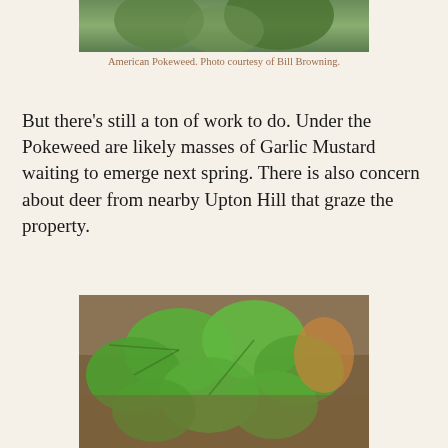[Figure (photo): Top portion of American Pokeweed plant photograph, cropped at top of page]
American Pokeweed. Photo courtesy of Bill Browning.
But there's still a ton of work to do. Under the Pokeweed are likely masses of Garlic Mustard waiting to emerge next spring. There is also concern about deer from nearby Upton Hill that graze the property.
[Figure (photo): Photograph of Garlic Mustard plant rosettes on forest floor with round green leaves and brown leaf litter]